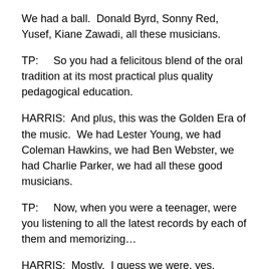We had a ball.  Donald Byrd, Sonny Red, Yusef, Kiane Zawadi, all these musicians.
TP:    So you had a felicitous blend of the oral tradition at its most practical plus quality pedagogical education.
HARRIS:  And plus, this was the Golden Era of the music.  We had Lester Young, we had Coleman Hawkins, we had Ben Webster, we had Charlie Parker, we had all these good musicians.
TP:    Now, when you were a teenager, were you listening to all the latest records by each of them and memorizing…
HARRIS:  Mostly.  I guess we were, yes.  Because we started out as teenagers.   That's the odd thing about now.  All the people trying to learn to play jazz, they're grown folks, 20-something years old.  Which is sort of